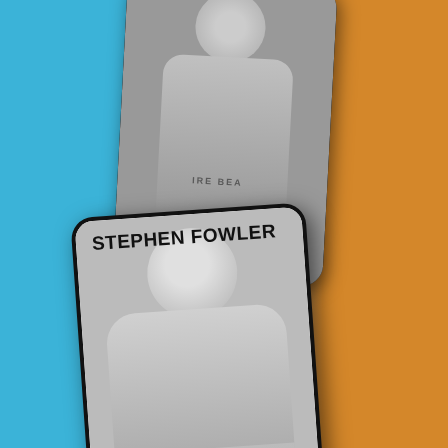[Figure (photo): Two phone-card style profile images overlapping on a blue and orange gradient background. Top card shows a partial grayscale photo of a person wearing a paint-splattered sweatshirt with text 'ARE BEAU' visible, rotated slightly clockwise. Bottom card shows a white card with 'STEPHEN FOWLER' in bold black uppercase text at the top, below which is a grayscale portrait of a smiling man in a blazer, rotated slightly counter-clockwise.]